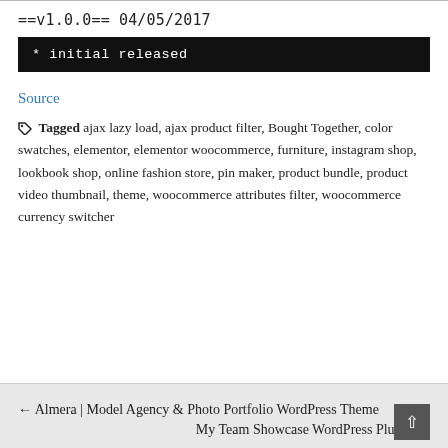==v1.0.0== 04/05/2017
*  initial released
Source
Tagged ajax lazy load, ajax product filter, Bought Together, color swatches, elementor, elementor woocommerce, furniture, instagram shop, lookbook shop, online fashion store, pin maker, product bundle, product video thumbnail, theme, woocommerce attributes filter, woocommerce currency switcher
← Almera | Model Agency & Photo Portfolio WordPress Theme
My Team Showcase WordPress Plugin →